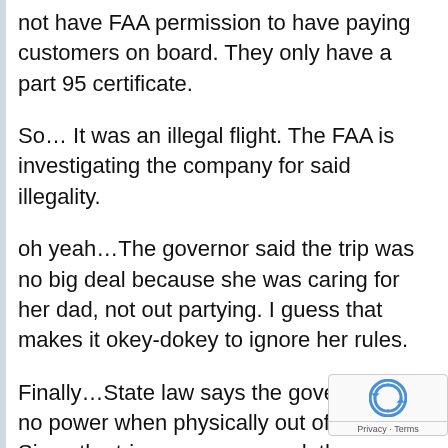not have FAA permission to have paying customers on board. They only have a part 95 certificate.
So… It was an illegal flight. The FAA is investigating the company for said illegality.
oh yeah…The governor said the trip was no big deal because she was caring for her dad, not out partying. I guess that makes it okey-dokey to ignore her rules.
Finally…State law says the governor has no power when physically out of the state. Since the trip was announced, the question arose as to who was technically the governor during her four-day three-night trip. Did the lieutenant governor hav…